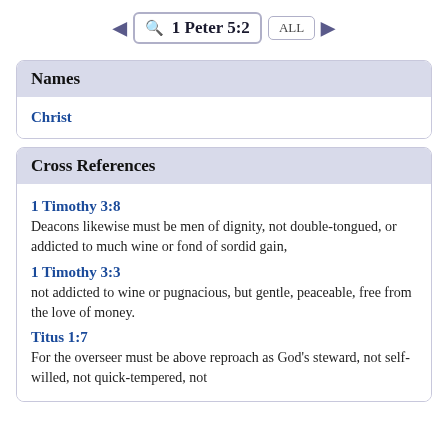1 Peter 5:2
Names
Christ
Cross References
1 Timothy 3:8
Deacons likewise must be men of dignity, not double-tongued, or addicted to much wine or fond of sordid gain,
1 Timothy 3:3
not addicted to wine or pugnacious, but gentle, peaceable, free from the love of money.
Titus 1:7
For the overseer must be above reproach as God's steward, not self-willed, not quick-tempered, not